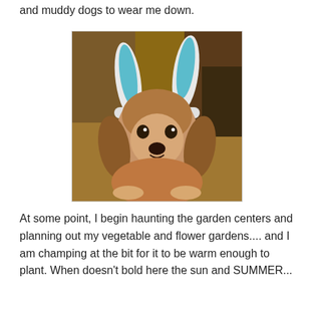and muddy dogs to wear me down.
[Figure (photo): A basset hound dog wearing sparkly blue and white bunny ears headband, sitting on a hardwood floor, looking at the camera with a sad/stoic expression. Blurred indoor background with furniture.]
At some point, I begin haunting the garden centers and planning out my vegetable and flower gardens.... and I am champing at the bit for it to be warm enough to plant. When doesn't bold here the sun and SUMMER...